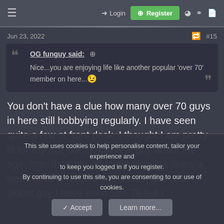≡  → Login  ⊞ Register  ◉  ♀  ▣
Jun 23, 2022  #15
OG funguy said: ⊕
Nice...you are enjoying life like another popular 'over 70' member on here... 😉
You don't have a clue how many over 70 guys in here still hobbying regularly. I have seen quite a few at front desk. I thought I am pretty fit for my age but I know one guy about my age, fitter than me and hobbying 2-3 times a week at both holistic and semi legits. The oldest guy I have seen was 78 but I
This site uses cookies to help personalise content, tailor your experience and to keep you logged in if you register.
By continuing to use this site, you are consenting to our use of cookies.
✓ Accept   Learn more...